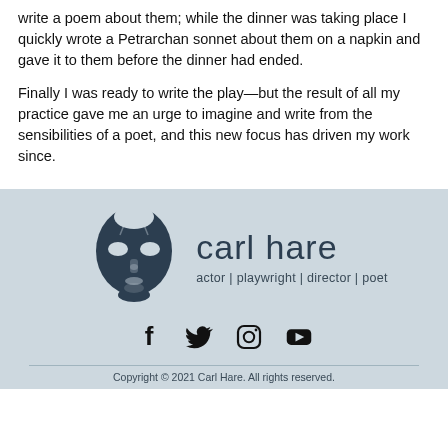write a poem about them; while the dinner was taking place I quickly wrote a Petrarchan sonnet about them on a napkin and gave it to them before the dinner had ended.
Finally I was ready to write the play—but the result of all my practice gave me an urge to imagine and write from the sensibilities of a poet, and this new focus has driven my work since.
[Figure (logo): Carl Hare logo: a stylized dark theatre mask icon on the left, with 'carl hare' in large light-weight font and 'actor | playwright | director | poet' subtitle below]
[Figure (infographic): Social media icons row: Facebook, Twitter, Instagram, YouTube]
Copyright © 2021 Carl Hare. All rights reserved.